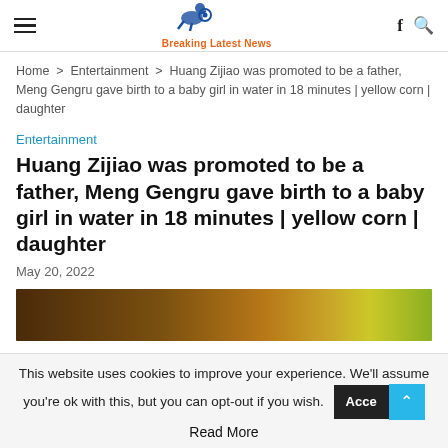Breaking Latest News
Home > Entertainment > Huang Zijiao was promoted to be a father, Meng Gengru gave birth to a baby girl in water in 18 minutes | yellow corn | daughter
Entertainment
Huang Zijiao was promoted to be a father, Meng Gengru gave birth to a baby girl in water in 18 minutes | yellow corn | daughter
May 20, 2022
[Figure (photo): Partially visible article image showing a dark brown and golden scene]
This website uses cookies to improve your experience. We'll assume you're ok with this, but you can opt-out if you wish.
Read More